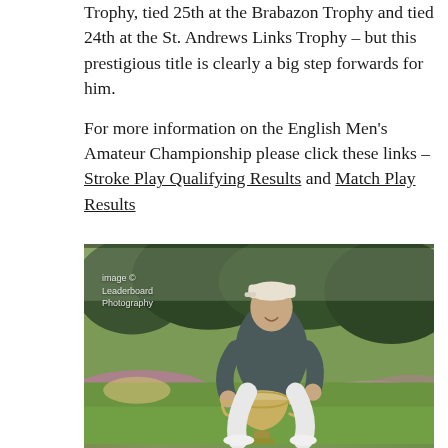Trophy, tied 25th at the Brabazon Trophy and tied 24th at the St. Andrews Links Trophy – but this prestigious title is clearly a big step forwards for him.
For more information on the English Men's Amateur Championship please click these links – Stroke Play Qualifying Results and Match Play Results
[Figure (photo): Young male golfer crouching on a golf course holding a large ornate silver trophy cup. He is wearing a dark grey polo shirt, white trousers, and a white Titleist cap. Background shows green fairway, heather/pink ground cover, and trees. Watermark reads 'image © Leaderboard Photography'.]